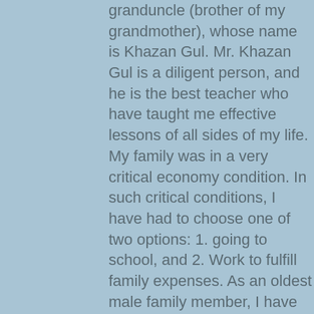granduncle (brother of my grandmother), whose name is Khazan Gul. Mr. Khazan Gul is a diligent person, and he is the best teacher who have taught me effective lessons of all sides of my life. My family was in a very critical economy condition. In such critical conditions, I have had to choose one of two options: 1. going to school, and 2. Work to fulfill family expenses. As an oldest male family member, I have selected to work in order to fulfill all the fundamental needs of my family members (my mother, my brother and my sister). Therefore, I have lost the chance of going to school. I was 12-year old when I have started physical